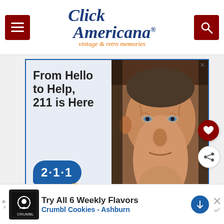Click Americana — vintage & retro memories
[Figure (screenshot): Advertisement: From Hello to Help, 211 is Here. Shows elderly man's face and 211 logo with tagline 'Get Connected. Get Help.']
[Figure (other): What's Next promo: See 40 Victorian...]
[Figure (other): Bottom advertisement: Try All 6 Weekly Flavors, Crumbl Cookies - Ashburn]